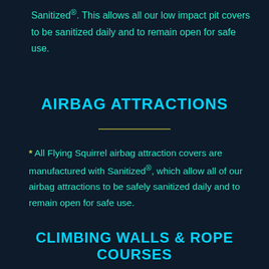Sanitized®. This allows all our low impact pit covers to be sanitized daily and to remain open for safe use.
AIRBAG ATTRACTIONS
* All Flying Squirrel airbag attraction covers are manufactured with Sanitized®, which allow all of our airbag attractions to be safely sanitized daily and to remain open for safe use.
CLIMBING WALLS & ROPE COURSES